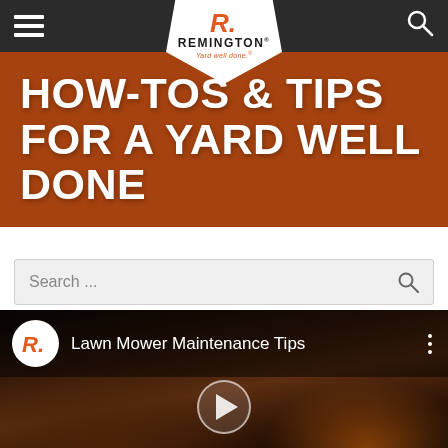Remington - Yard well done.
HOW-TOS & TIPS FOR A YARD WELL DONE
Search ...
[Figure (screenshot): Video thumbnail showing a Remington lawn mower with Lawn Mower Maintenance Tips title and play button overlay]